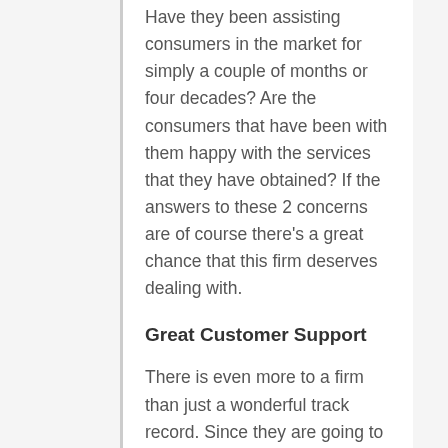Have they been assisting consumers in the market for simply a couple of months or four decades? Are the consumers that have been with them happy with the services that they have obtained? If the answers to these 2 concerns are of course there's a great chance that this firm deserves dealing with.
Great Customer Support
There is even more to a firm than just a wonderful track record. Since they are going to be taking care of such an important element of your financial life it is essential that they are not a migraine to deal with. The very best companies will certainly have superb client service as